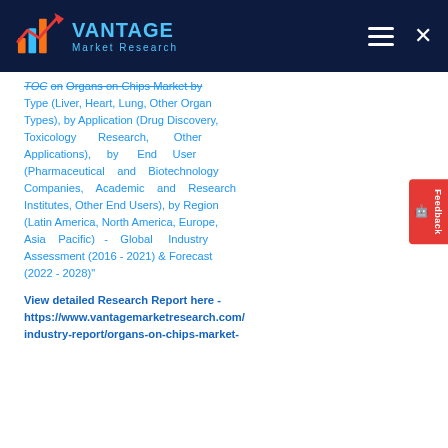Vantage Market Research
TOC on Organs on Chips Market by Type (Liver, Heart, Lung, Other Organ Types), by Application (Drug Discovery, Toxicology Research, Other Applications), by End User (Pharmaceutical and Biotechnology Companies, Academic and Research Institutes, Other End Users), by Region (Latin America, North America, Europe, Asia Pacific) - Global Industry Assessment (2016 - 2021) & Forecast (2022 - 2028)"
View detailed Research Report here - https://www.vantagemarketresearch.com/industry-report/organs-on-chips-market-